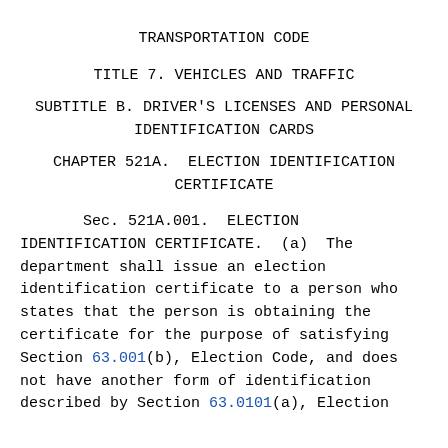TRANSPORTATION CODE
TITLE 7. VEHICLES AND TRAFFIC
SUBTITLE B. DRIVER'S LICENSES AND PERSONAL IDENTIFICATION CARDS
CHAPTER 521A.  ELECTION IDENTIFICATION CERTIFICATE
Sec. 521A.001.  ELECTION IDENTIFICATION CERTIFICATE.  (a)  The department shall issue an election identification certificate to a person who states that the person is obtaining the certificate for the purpose of satisfying Section 63.001(b), Election Code, and does not have another form of identification described by Section 63.0101(a), Election